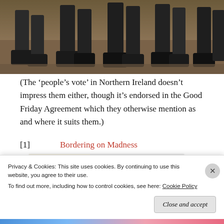[Figure (photo): Cropped photo showing legs and boots of multiple people standing on dirt/earth ground, viewed from the knees down.]
(The ‘people’s vote’ in Northern Ireland doesn’t impress them either, though it’s endorsed in the Good Friday Agreement which they otherwise mention as and where it suits them.)
[1]    Bordering on Madness
[Figure (screenshot): Screenshot of a website or app showing a green navigation bar and food/recipe photo thumbnails on a beige background.]
Privacy & Cookies: This site uses cookies. By continuing to use this website, you agree to their use.
To find out more, including how to control cookies, see here: Cookie Policy
Close and accept